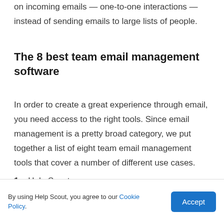on incoming emails — one-to-one interactions — instead of sending emails to large lists of people.
The 8 best team email management software
In order to create a great experience through email, you need access to the right tools. Since email management is a pretty broad category, we put together a list of eight team email management tools that cover a number of different use cases.
1. Help Scout
2. [obscured]
By using Help Scout, you agree to our Cookie Policy.
3. Emailigistics